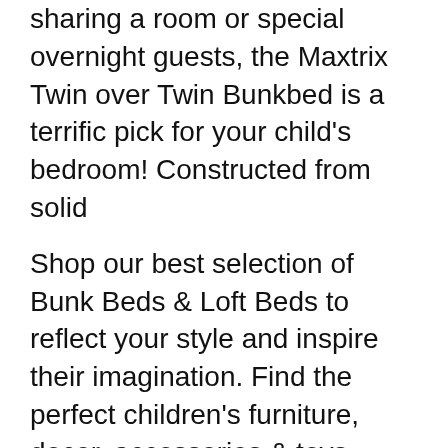sharing a room or special overnight guests, the Maxtrix Twin over Twin Bunkbed is a terrific pick for your child's bedroom! Constructed from solid
Shop our best selection of Bunk Beds & Loft Beds to reflect your style and inspire their imagination. Find the perfect children's furniture, decor, accessories & toys Maxwood Furniture also manufactures MaxtrixB®, the worlds largest kids furniture system, Craft Bedrooms, After assembly, this design supports up to 250 lbs.
page 03 STEP BY STEP ASSEMBLY INSTRUCTIONS IMPORTANT - READ CAREFULLY RETAIN FOR FUTURE